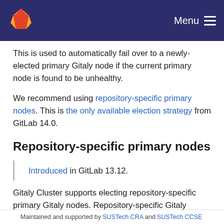Menu
This is used to automatically fail over to a newly-elected primary Gitaly node if the current primary node is found to be unhealthy.
We recommend using repository-specific primary nodes. This is the only available election strategy from GitLab 14.0.
Repository-specific primary nodes
Introduced in GitLab 13.12.
Gitaly Cluster supports electing repository-specific primary Gitaly nodes. Repository-specific Gitaly primary nodes are enabled in /etc/gitlab/gitlab.rb by setting praefect['failover_election_strategy'] = 'per repository'.
Maintained and supported by SUSTech CRA and SUSTech CCSE